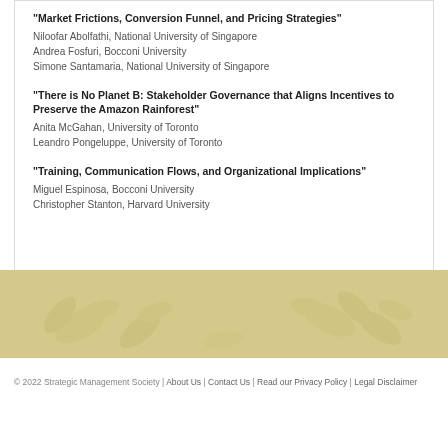"Market Frictions, Conversion Funnel, and Pricing Strategies"
Niloofar Abolfathi, National University of Singapore
Andrea Fosfuri, Bocconi University
Simone Santamaria, National University of Singapore
"There is No Planet B: Stakeholder Governance that Aligns Incentives to Preserve the Amazon Rainforest"
Anita McGahan, University of Toronto
Leandro Pongeluppe, University of Toronto
"Training, Communication Flows, and Organizational Implications"
Miguel Espinosa, Bocconi University
Christopher Stanton, Harvard University
© 2022 Strategic Management Society | About Us | Contact Us | Read our Privacy Policy | Legal Disclaimer